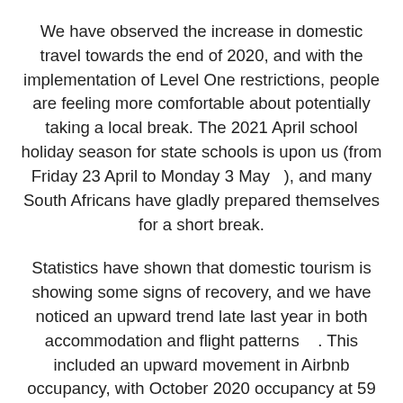We have observed the increase in domestic travel towards the end of 2020, and with the implementation of Level One restrictions, people are feeling more comfortable about potentially taking a local break. The 2021 April school holiday season for state schools is upon us (from Friday 23 April to Monday 3 May   ), and many South Africans have gladly prepared themselves for a short break.
Statistics have shown that domestic tourism is showing some signs of recovery, and we have noticed an upward trend late last year in both accommodation and flight patterns     . This included an upward movement in Airbnb occupancy, with October 2020 occupancy at 59 percent of occupancies for the same time in